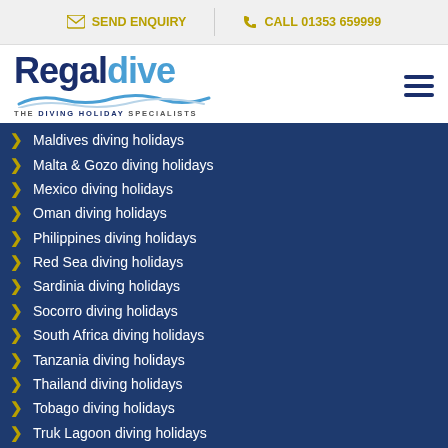SEND ENQUIRY | CALL 01353 659999
[Figure (logo): Regaldive logo with wave graphic and tagline 'THE DIVING HOLIDAY SPECIALISTS']
Maldives diving holidays
Malta & Gozo diving holidays
Mexico diving holidays
Oman diving holidays
Philippines diving holidays
Red Sea diving holidays
Sardinia diving holidays
Socorro diving holidays
South Africa diving holidays
Tanzania diving holidays
Thailand diving holidays
Tobago diving holidays
Truk Lagoon diving holidays
Liveaboard Diving